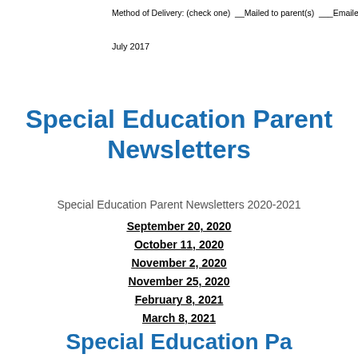Method of Delivery: (check one)  __Mailed to parent(s)  ___Emailed to pa
July 2017
Special Education Parent Newsletters
Special Education Parent Newsletters 2020-2021
September 20, 2020
October 11, 2020
November 2, 2020
November 25, 2020
February 8, 2021
March 8, 2021
Special Education Pa